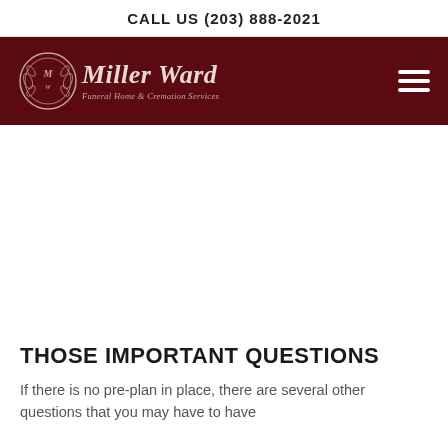CALL US (203) 888-2021
[Figure (logo): Miller Ward Funeral Home & Cremation Services logo on dark red background with hamburger menu icon]
THOSE IMPORTANT QUESTIONS
If there is no pre-plan in place, there are several other questions that you may have to have